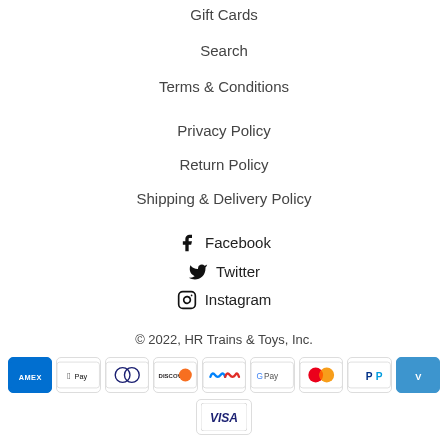Gift Cards
Search
Terms & Conditions
Privacy Policy
Return Policy
Shipping & Delivery Policy
Facebook
Twitter
Instagram
© 2022, HR Trains & Toys, Inc.
[Figure (other): Payment method logos: American Express, Apple Pay, Diners Club, Discover, Meta Pay, Google Pay, Mastercard, PayPal, Venmo, Visa]